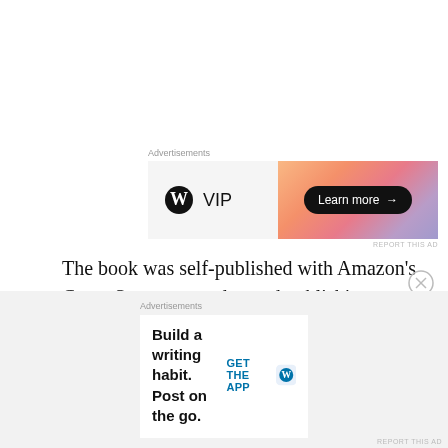[Figure (other): WordPress VIP advertisement banner with gradient orange/purple background and Learn more button]
The book was self-published with Amazon's CreateSpace an on-demand publishing platform. I am vehement about this distribution method of distribution. My plan is to self-publish a book this way in the future.
[Figure (other): WordPress app advertisement: Build a writing habit. Post on the go. GET THE APP with WordPress logo]